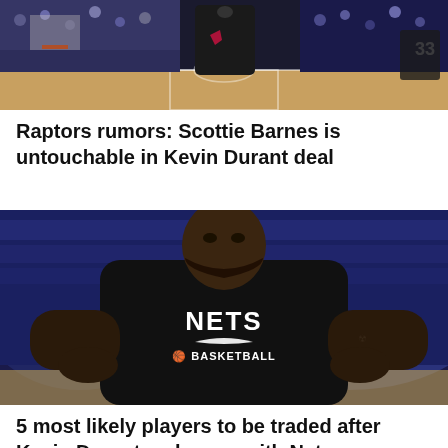[Figure (photo): Basketball arena scene with Raptors players on court, crowd in background, player wearing Jordan brand apparel visible, number 33 jersey visible on right]
Raptors rumors: Scottie Barnes is untouchable in Kevin Durant deal
[Figure (photo): Kevin Durant in black Brooklyn Nets warmup shirt reading NETS BASKETBALL with Nike swoosh, hands on hips, looking upward, blurred blue arena background]
5 most likely players to be traded after Kevin Durant makes up with Nets